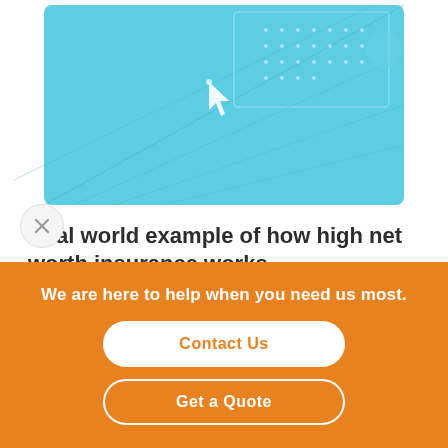[Figure (illustration): Light blue decorative illustration with geometric lines, dot grid pattern, and a cursor/pointer icon in the center, representing an insurance concept graphic]
Real world example of how high net worth insurance works.
For example, you may want to look for
We are here to help when you need us most.
Contact Us
Get a Quote